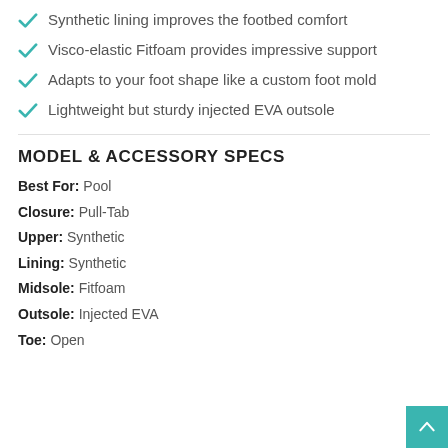Synthetic lining improves the footbed comfort
Visco-elastic Fitfoam provides impressive support
Adapts to your foot shape like a custom foot mold
Lightweight but sturdy injected EVA outsole
MODEL & ACCESSORY SPECS
Best For: Pool
Closure: Pull-Tab
Upper: Synthetic
Lining: Synthetic
Midsole: Fitfoam
Outsole: Injected EVA
Toe: Open